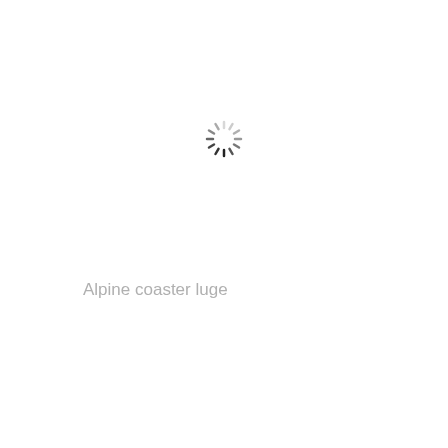[Figure (other): A loading spinner icon (circular dashed ring) rendered in grayscale, with darker segments at the bottom indicating rotation direction.]
Alpine coaster luge